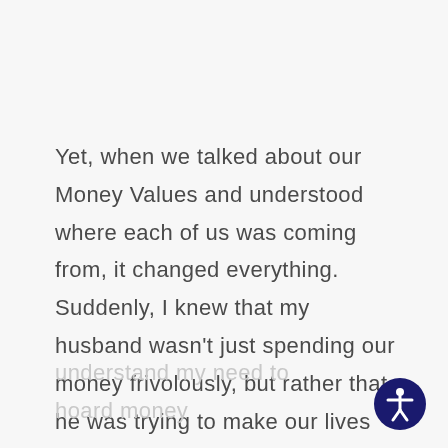Yet, when we talked about our Money Values and understood where each of us was coming from, it changed everything. Suddenly, I knew that my husband wasn't just spending our money frivolously, but rather that he was trying to make our lives easier in some way. And he could then
understand my need to hoard money